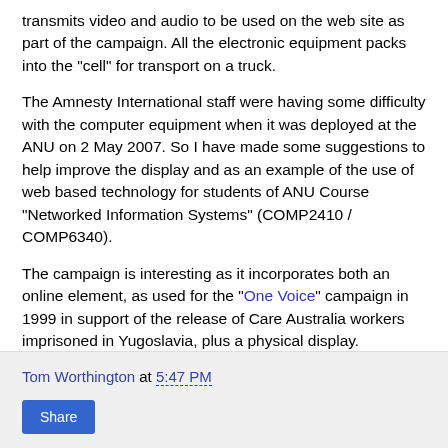transmits video and audio to be used on the web site as part of the campaign. All the electronic equipment packs into the "cell" for transport on a truck.
The Amnesty International staff were having some difficulty with the computer equipment when it was deployed at the ANU on 2 May 2007. So I have made some suggestions to help improve the display and as an example of the use of web based technology for students of ANU Course "Networked Information Systems" (COMP2410 / COMP6340).
The campaign is interesting as it incorporates both an online element, as used for the "One Voice" campaign in 1999 in support of the release of Care Australia workers imprisoned in Yugoslavia, plus a physical display.
Tom Worthington at 5:47 PM | Share